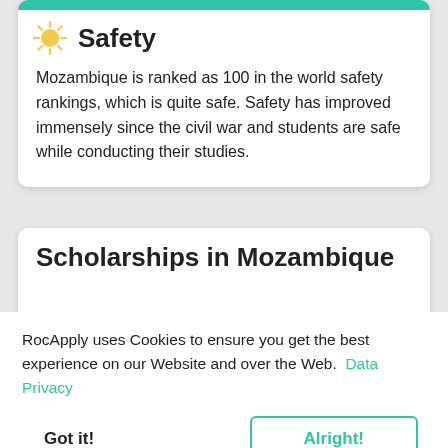Safety
Mozambique is ranked as 100 in the world safety rankings, which is quite safe. Safety has improved immensely since the civil war and students are safe while conducting their studies.
Scholarships in Mozambique
RocApply uses Cookies to ensure you get the best experience on our Website and over the Web.  Data Privacy
Got it!
Alright!
students. RocApply takes you through some of the scholarships available and...